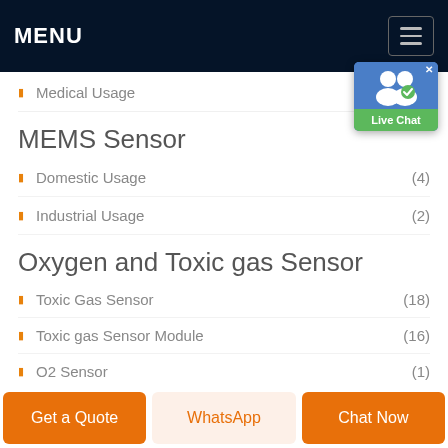MENU
Medical Usage
MEMS Sensor
Domestic Usage (4)
Industrial Usage (2)
Oxygen and Toxic gas Sensor
Toxic Gas Sensor (18)
Toxic gas Sensor Module (16)
O2 Sensor (1)
IR Thermal S…